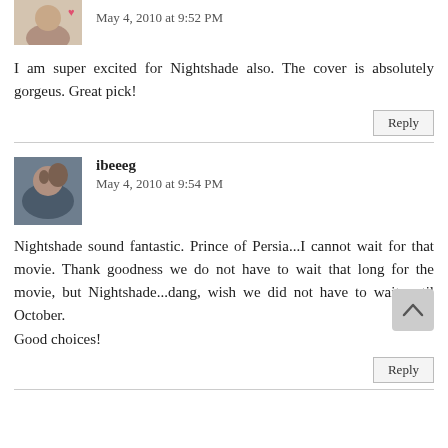[Figure (photo): Partial avatar image of first commenter, cropped at top]
May 4, 2010 at 9:52 PM
I am super excited for Nightshade also. The cover is absolutely gorgeus. Great pick!
Reply
[Figure (photo): Avatar photo of ibeeeg, a woman]
ibeeeg
May 4, 2010 at 9:54 PM
Nightshade sound fantastic. Prince of Persia...I cannot wait for that movie. Thank goodness we do not have to wait that long for the movie, but Nightshade...dang, wish we did not have to wait until October.
Good choices!
Reply